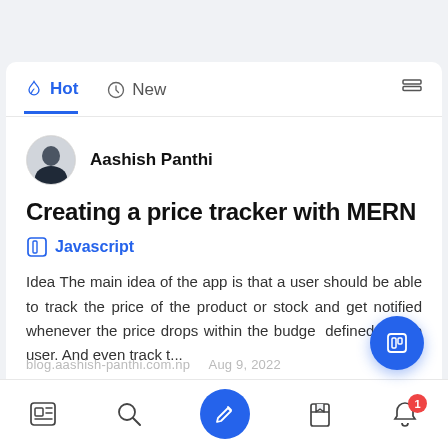[Figure (screenshot): Mobile app screenshot showing a content feed with Hot and New tabs, an article by Aashish Panthi titled 'Creating a price tracker with MERN', tagged Javascript, with a preview excerpt and bottom navigation bar.]
Hot | New
Aashish Panthi
Creating a price tracker with MERN
Javascript
Idea The main idea of the app is that a user should be able to track the price of the product or stock and get notified whenever the price drops within the budget defined by the user. And even track t...
blog.aashish-panthi.com.np    Aug 9, 2022